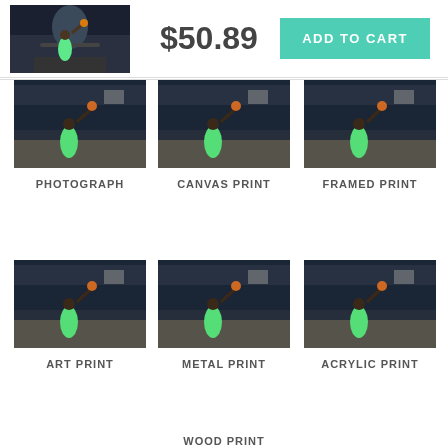[Figure (photo): Basketball dunk photo thumbnail in top bar]
$50.89
ADD TO CART
[Figure (photo): Basketball dunk photo - Photograph product]
PHOTOGRAPH
[Figure (photo): Basketball dunk photo - Canvas Print product]
CANVAS PRINT
[Figure (photo): Basketball dunk photo - Framed Print product]
FRAMED PRINT
[Figure (photo): Basketball dunk photo - Art Print product]
ART PRINT
[Figure (photo): Basketball dunk photo - Metal Print product]
METAL PRINT
[Figure (photo): Basketball dunk photo - Acrylic Print product]
ACRYLIC PRINT
WOOD PRINT